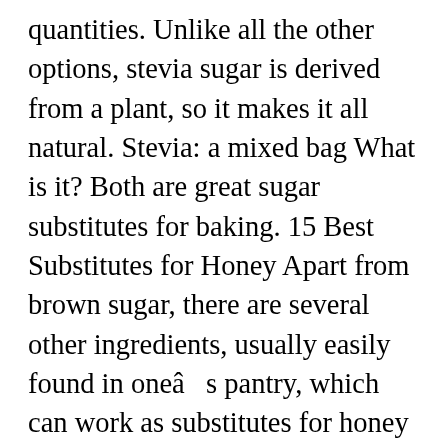quantities. Unlike all the other options, stevia sugar is derived from a plant, so it makes it all natural. Stevia: a mixed bag What is it? Both are great sugar substitutes for baking. 15 Best Substitutes for Honey Apart from brown sugar, there are several other ingredients, usually easily found in oneâs pantry, which can work as substitutes for honey in recipes or as general alternatives for honey. Maple syrup offers similar sweetness as maple sugar. This is an easy 1-for-1 substitution and is a flavorful substitution for recipes calling for both white and brown sugar. The only difference is the fact that it is a liquid, which means that using it will require you to adjust the amounts of the other liquids that the recipe requires. 100%